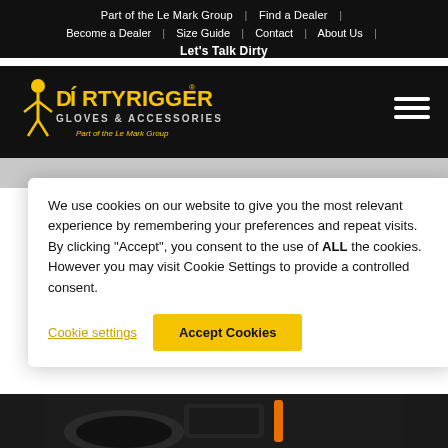Part of the Le Mark Group | Find a Dealer | Become a Dealer | Size Guide | Contact | About Us | Let's Talk Dirty
[Figure (logo): Dirty Rigger Gloves & Accessories logo — Part of the Le Mark Group, yellow and white text on black background with figure illustration]
We use cookies on our website to give you the most relevant experience by remembering your preferences and repeat visits. By clicking “Accept”, you consent to the use of ALL the cookies. However you may visit Cookie Settings to provide a controlled consent.
Cookie settings
Accept Cookies
[Figure (photo): Partial view of Dirty Rigger product (gloves/bag) in black with orange strap detail, at bottom of page]